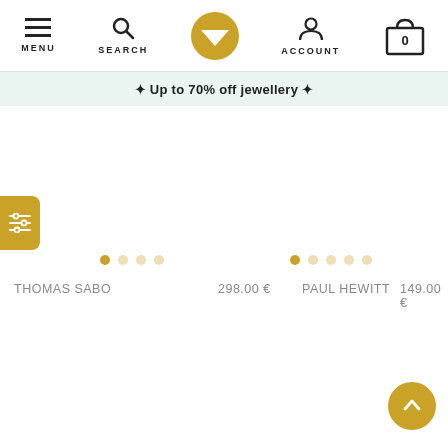[Figure (screenshot): Navigation bar with MENU (hamburger icon), SEARCH (magnifier icon), center gold diamond logo, ACCOUNT (person icon), and shopping bag with 0]
✦ Up to 70% off jewellery ✦
[Figure (infographic): Filter/sort button (gold rounded rectangle with three horizontal sliders icon) on left side]
[Figure (other): Product carousel dots: 1 filled gold dot, 3 empty dots for THOMAS SABO product]
[Figure (other): Product carousel dots: 1 filled gold dot, 4 empty dots for PAUL HEWITT product]
THOMAS SABO
298.00 €
PAUL HEWITT
149.00 €
[Figure (other): Back to top gold circular button with upward chevron arrow, bottom right corner]